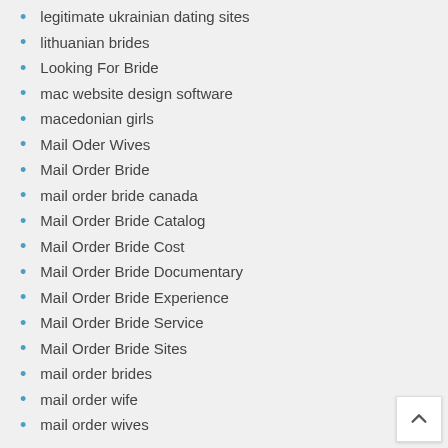legitimate ukrainian dating sites
lithuanian brides
Looking For Bride
mac website design software
macedonian girls
Mail Oder Wives
Mail Order Bride
mail order bride canada
Mail Order Bride Catalog
Mail Order Bride Cost
Mail Order Bride Documentary
Mail Order Bride Experience
Mail Order Bride Service
Mail Order Bride Sites
mail order brides
mail order wife
mail order wives